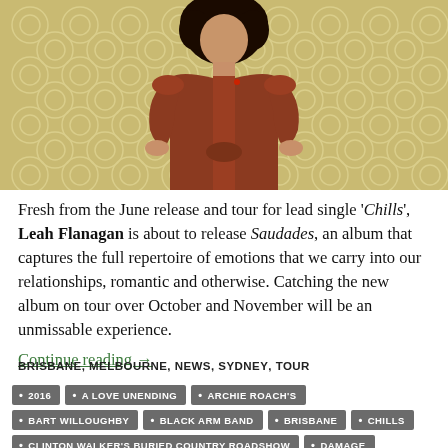[Figure (photo): A woman with curly dark hair wearing a rust/terracotta red short-sleeve blouse, posing with hands on hips against a yellow-green floral patterned wallpaper background.]
Fresh from the June release and tour for lead single 'Chills', Leah Flanagan is about to release Saudades, an album that captures the full repertoire of emotions that we carry into our relationships, romantic and otherwise. Catching the new album on tour over October and November will be an unmissable experience.
Continue reading →
BRISBANE, MELBOURNE, NEWS, SYDNEY, TOUR
2016
A LOVE UNENDING
ARCHIE ROACH'S
BART WILLOUGHBY
BLACK ARM BAND
BRISBANE
CHILLS
CLINTON WALKER'S BURIED COUNTRY ROADSHOW
DAMAGE
DARWIN
FRANCE'S ORCHESTRE NATIONAL DE JAZZ
GEELONG